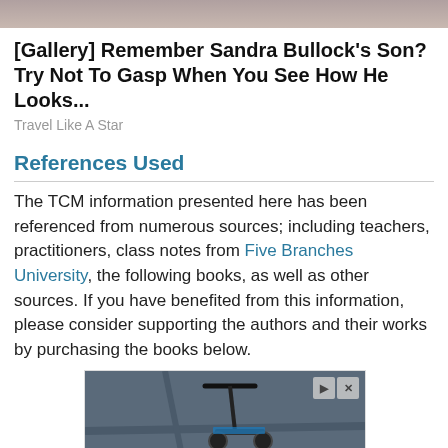[Figure (photo): Partial top photo showing people, cropped at top of page]
[Gallery] Remember Sandra Bullock's Son? Try Not To Gasp When You See How He Looks...
Travel Like A Star
References Used
The TCM information presented here has been referenced from numerous sources; including teachers, practitioners, class notes from Five Branches University, the following books, as well as other sources. If you have benefited from this information, please consider supporting the authors and their works by purchasing the books below.
[Figure (photo): Advertisement banner showing a scooter with text 'Download Helbiz and ride']